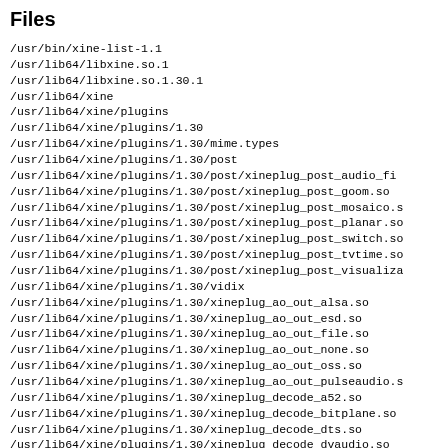Files
/usr/bin/xine-list-1.1
/usr/lib64/libxine.so.1
/usr/lib64/libxine.so.1.30.1
/usr/lib64/xine
/usr/lib64/xine/plugins
/usr/lib64/xine/plugins/1.30
/usr/lib64/xine/plugins/1.30/mime.types
/usr/lib64/xine/plugins/1.30/post
/usr/lib64/xine/plugins/1.30/post/xineplug_post_audio_fi
/usr/lib64/xine/plugins/1.30/post/xineplug_post_goom.so
/usr/lib64/xine/plugins/1.30/post/xineplug_post_mosaico.s
/usr/lib64/xine/plugins/1.30/post/xineplug_post_planar.so
/usr/lib64/xine/plugins/1.30/post/xineplug_post_switch.so
/usr/lib64/xine/plugins/1.30/post/xineplug_post_tvtime.so
/usr/lib64/xine/plugins/1.30/post/xineplug_post_visualiza
/usr/lib64/xine/plugins/1.30/vidix
/usr/lib64/xine/plugins/1.30/xineplug_ao_out_alsa.so
/usr/lib64/xine/plugins/1.30/xineplug_ao_out_esd.so
/usr/lib64/xine/plugins/1.30/xineplug_ao_out_file.so
/usr/lib64/xine/plugins/1.30/xineplug_ao_out_none.so
/usr/lib64/xine/plugins/1.30/xineplug_ao_out_oss.so
/usr/lib64/xine/plugins/1.30/xineplug_ao_out_pulseaudio.s
/usr/lib64/xine/plugins/1.30/xineplug_decode_a52.so
/usr/lib64/xine/plugins/1.30/xineplug_decode_bitplane.so
/usr/lib64/xine/plugins/1.30/xineplug_decode_dts.so
/usr/lib64/xine/plugins/1.30/xineplug_decode_dvaudio.so
/usr/lib64/xine/plugins/1.30/xineplug_decode_dxr3_spu.so
/usr/lib64/xine/plugins/1.30/xineplug_decode_dxr3_video.s